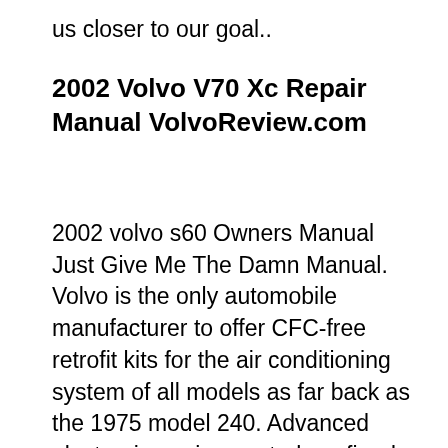us closer to our goal..
2002 Volvo V70 Xc Repair Manual VolvoReview.com
2002 volvo s60 Owners Manual Just Give Me The Damn Manual. Volvo is the only automobile manufacturer to offer CFC-free retrofit kits for the air conditioning system of all models as far back as the 1975 model 240. Advanced electronic engine controls, refined purification systems and cleaner fuels are bringing us closer to our goal., 2020 S60 Starting at MSRP $36,050 . Build. Explore. Offers Accessories Volvo Lifestyle Collection Overseas Delivery Volvo Services Download a Brochure